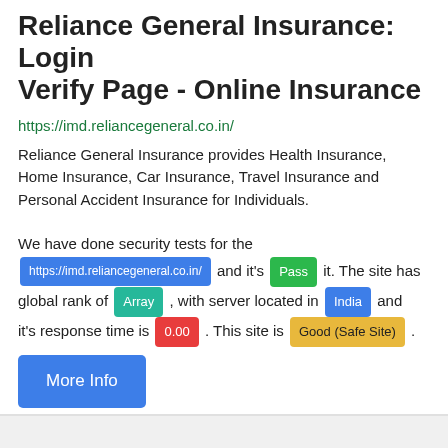Reliance General Insurance: Login Verify Page - Online Insurance
https://imd.reliancegeneral.co.in/
Reliance General Insurance provides Health Insurance, Home Insurance, Car Insurance, Travel Insurance and Personal Accident Insurance for Individuals.
We have done security tests for the https://imd.reliancegeneral.co.in/ and it's Pass it. The site has global rank of Array, with server located in India and it's response time is 0.00. This site is Good (Safe Site).
More Info
Answer By: Jeannette Arndt